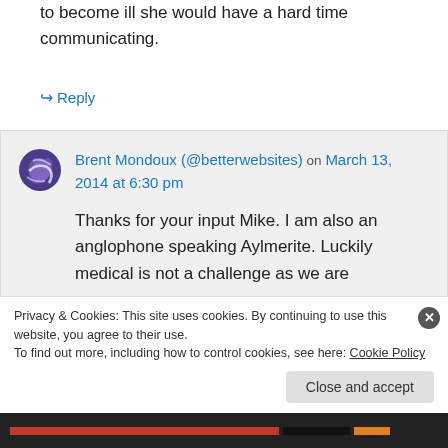to become ill she would have a hard time communicating.
↪ Reply
Brent Mondoux (@betterwebsites) on March 13, 2014 at 6:30 pm
Thanks for your input Mike. I am also an anglophone speaking Aylmerite. Luckily medical is not a challenge as we are
Privacy & Cookies: This site uses cookies. By continuing to use this website, you agree to their use.
To find out more, including how to control cookies, see here: Cookie Policy
Close and accept